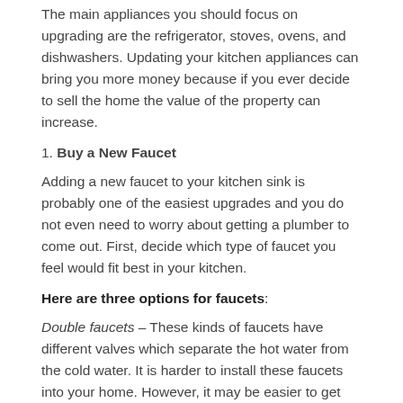The main appliances you should focus on upgrading are the refrigerator, stoves, ovens, and dishwashers. Updating your kitchen appliances can bring you more money because if you ever decide to sell the home the value of the property can increase.
1. Buy a New Faucet
Adding a new faucet to your kitchen sink is probably one of the easiest upgrades and you do not even need to worry about getting a plumber to come out. First, decide which type of faucet you feel would fit best in your kitchen.
Here are three options for faucets:
Double faucets – These kinds of faucets have different valves which separate the hot water from the cold water. It is harder to install these faucets into your home. However, it may be easier to get the water to the desired temperature.